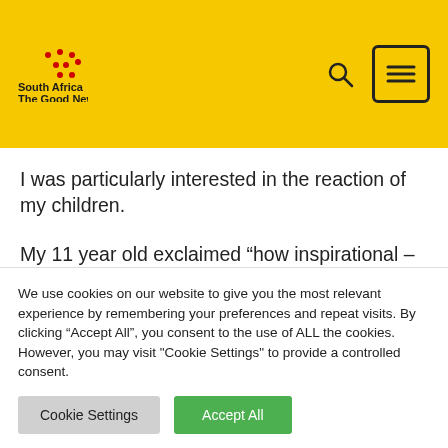South Africa The Good News
I was particularly interested in the reaction of my children.
My 11 year old exclaimed “how inspirational – you really can follow your dreams”. She’s too young to understand the colour issues we have
We use cookies on our website to give you the most relevant experience by remembering your preferences and repeat visits. By clicking “Accept All”, you consent to the use of ALL the cookies. However, you may visit "Cookie Settings" to provide a controlled consent.